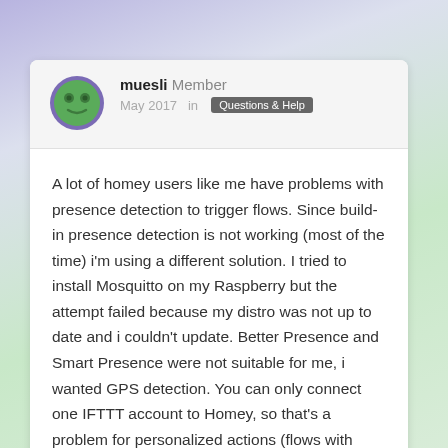[Figure (illustration): User avatar: circular icon with green background and a stylized face/emoji symbol in darker green, with purple/blue circular border]
muesli Member
May 2017  in  Questions & Help
A lot of homey users like me have problems with presence detection to trigger flows. Since build-in presence detection is not working (most of the time) i'm using a different solution. I tried to install Mosquitto on my Raspberry but the attempt failed because my distro was not up to date and i couldn't update. Better Presence and Smart Presence were not suitable for me, i wanted GPS detection. You can only connect one IFTTT account to Homey, so that's a problem for personalized actions (flows with different lightning, different music, temperature, alerts etc). However, there's a workaround...